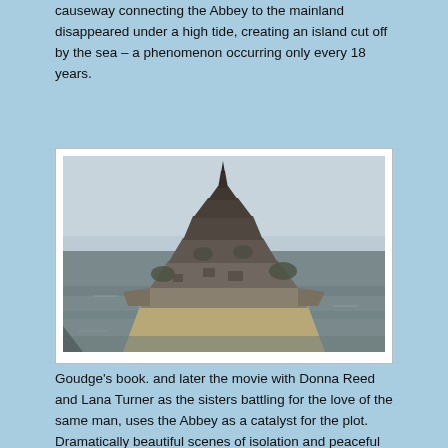causeway connecting the Abbey to the mainland disappeared under a high tide, creating an island cut off by the sea – a phenomenon occurring only every 18 years.
[Figure (photo): Aerial photograph of Mont Saint-Michel, a rocky island with a medieval abbey and village, surrounded by water/tidal flats on a misty day.]
Goudge's book. and later the movie with Donna Reed and Lana Turner as the sisters battling for the love of the same man, uses the Abbey as a catalyst for the plot.  Dramatically beautiful scenes of isolation and peaceful seclusion have a daily tide, rather than one every 18 years, surrounding the building – keeping the nuns